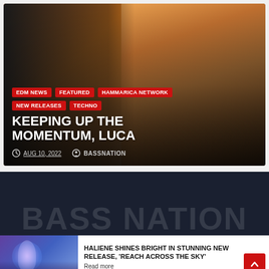[Figure (photo): Music article card with photo of person in orange shirt with tattoos, overlaid with category tags, headline, date and author]
EDM NEWS
FEATURED
HAMMARICA NETWORK
NEW RELEASES
TECHNO
KEEPING UP THE MOMENTUM, LUCA
AUG 10, 2022   BASSNATION
BASS NATION
HALIENE SHINES BRIGHT IN STUNNING NEW RELEASE, 'REACH ACROSS THE SKY'
Read more
[Figure (photo): Thumbnail of glowing female figure in blue/purple light for the Haliene article]